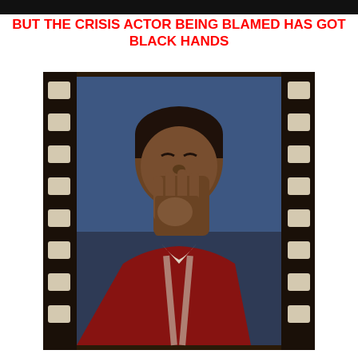BUT THE CRISIS ACTOR BEING BLAMED HAS GOT BLACK HANDS
[Figure (photo): A photo of a young Black male laughing with his hand raised near his face, wearing a red and white striped shirt with a white collar, set against a blue background. The photo appears to be a school portrait printed on film strip style border with black sprocket holes on both sides.]